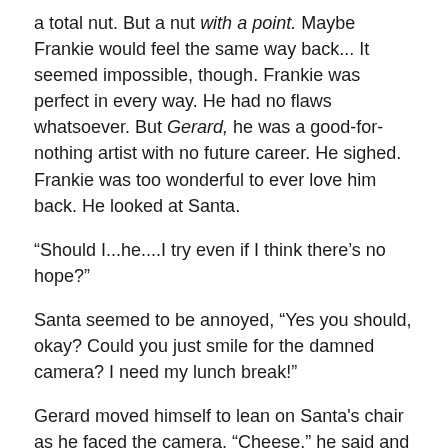a total nut. But a nut with a point. Maybe Frankie would feel the same way back... It seemed impossible, though. Frankie was perfect in every way. He had no flaws whatsoever. But Gerard, he was a good-for-nothing artist with no future career. He sighed. Frankie was too wonderful to ever love him back. He looked at Santa.
“Should I...he....I try even if I think there’s no hope?”
Santa seemed to be annoyed, “Yes you should, okay? Could you just smile for the damned camera? I need my lunch break!”
Gerard moved himself to lean on Santa's chair as he faced the camera, “Cheese,” he said and forced a smile.
~*~
Name: Gerard Way